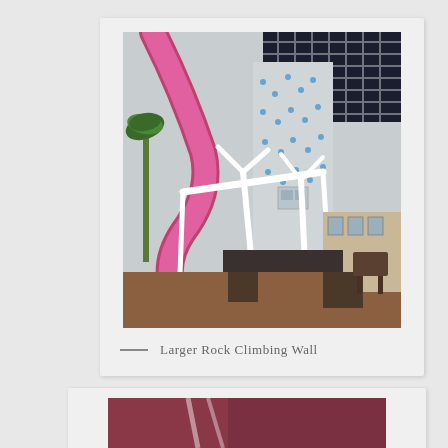[Figure (photo): Indoor water park or recreation facility showing a rock climbing wall tower with colorful holds, a pink/magenta water slide curving in the foreground, structural white support beams/columns, palm tree decoration, dark latticed roof structure, and seating area with wooden chairs visible in the background.]
— Larger Rock Climbing Wall
[Figure (photo): Partial view of another photo, showing what appears to be a maroon/burgundy colored slide or structure, partially cropped at bottom of page.]